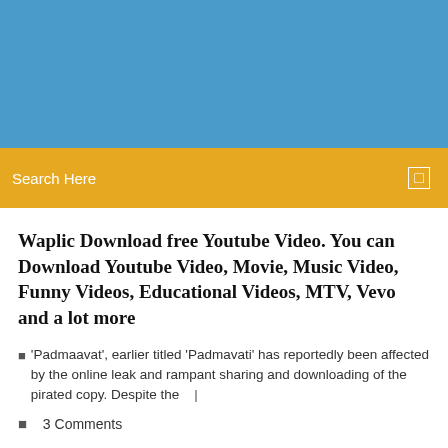[Figure (other): Blue banner header background]
Search Here
Waplic Download free Youtube Video. You can Download Youtube Video, Movie, Music Video, Funny Videos, Educational Videos, MTV, Vevo and a lot more
'Padmaavat', earlier titled 'Padmavati' has reportedly been affected by the online leak and rampant sharing and downloading of the pirated copy. Despite the   |
3 Comments